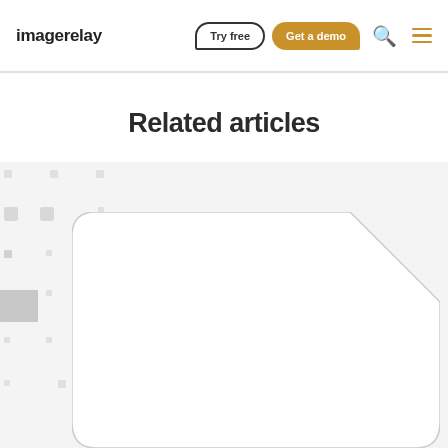imagerelay — Try free | Get a demo
Related articles
[Figure (screenshot): Partial view of an article card with rounded corners and a diagonal cut on the top-right corner, shown against a light gray background with faint grid elements]